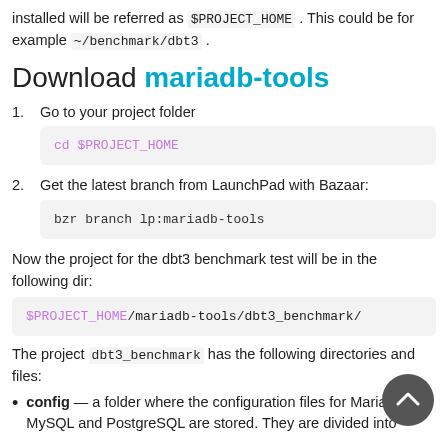installed will be referred as $PROJECT_HOME . This could be for example ~/benchmark/dbt3 .
Download mariadb-tools
1. Go to your project folder
cd $PROJECT_HOME
2. Get the latest branch from LaunchPad with Bazaar:
bzr branch lp:mariadb-tools
Now the project for the dbt3 benchmark test will be in the following dir:
$PROJECT_HOME/mariadb-tools/dbt3_benchmark/
The project dbt3_benchmark has the following directories and files:
config — a folder where the configuration files for MariaDB, MySQL and PostgreSQL are stored. They are divided into